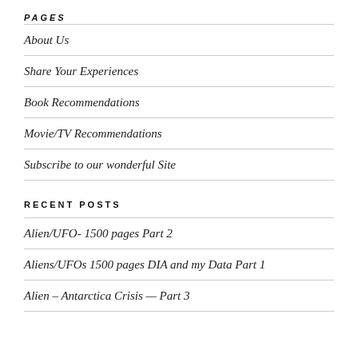PAGES
About Us
Share Your Experiences
Book Recommendations
Movie/TV Recommendations
Subscribe to our wonderful Site
RECENT POSTS
Alien/UFO- 1500 pages Part 2
Aliens/UFOs 1500 pages DIA and my Data Part 1
Alien – Antarctica Crisis — Part 3